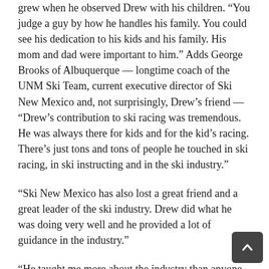grew when he observed Drew with his children. “You judge a guy by how he handles his family. You could see his dedication to his kids and his family. His mom and dad were important to him.” Adds George Brooks of Albuquerque — longtime coach of the UNM Ski Team, current executive director of Ski New Mexico and, not surprisingly, Drew’s friend — “Drew’s contribution to ski racing was tremendous. He was always there for kids and for the kid’s racing. There’s just tons and tons of people he touched in ski racing, in ski instructing and in the ski industry.”
“Ski New Mexico has also lost a great friend and a great leader of the ski industry. Drew did what he was doing very well and he provided a lot of guidance in the industry.”
“He taught me more about the industry than anyone else,” says Hampton, who also achieved full PSIA certification and worked for 35 years as a ski instructor, ski school director and ski school trainer for Drew. “He helped me with my skiing and taught me a lot of lessons about life